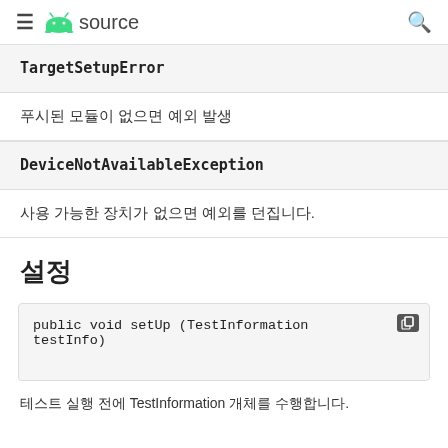≡ android source 🔍
| TargetSetupError |  |
| --- | --- |
| 푸시된 모듈이 없으면 예외 발생 |  |
| DeviceNotAvailableException |  |
| --- | --- |
| 사용 가능한 장치가 없으면 예외를 던집니다. |  |
설정
public void setUp (TestInformation testInfo)
테스트 실행 전에 TestInformation 개체를 수행합니다.